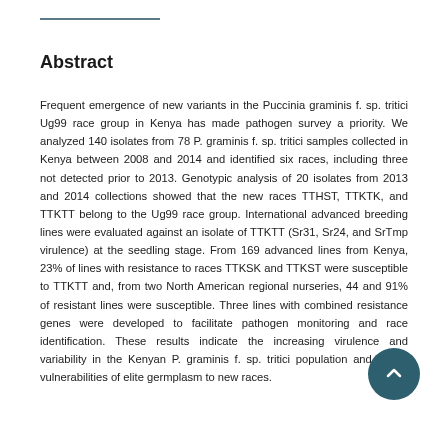Abstract
Frequent emergence of new variants in the Puccinia graminis f. sp. tritici Ug99 race group in Kenya has made pathogen survey a priority. We analyzed 140 isolates from 78 P. graminis f. sp. tritici samples collected in Kenya between 2008 and 2014 and identified six races, including three not detected prior to 2013. Genotypic analysis of 20 isolates from 2013 and 2014 collections showed that the new races TTHST, TTKTK, and TTKTT belong to the Ug99 race group. International advanced breeding lines were evaluated against an isolate of TTKTT (Sr31, Sr24, and SrTmp virulence) at the seedling stage. From 169 advanced lines from Kenya, 23% of lines with resistance to races TTKSK and TTKST were susceptible to TTKTT and, from two North American regional nurseries, 44 and 91% of resistant lines were susceptible. Three lines with combined resistance genes were developed to facilitate pathogen monitoring and race identification. These results indicate the increasing virulence and variability in the Kenyan P. graminis f. sp. tritici population and reveal vulnerabilities of elite germplasm to new races.